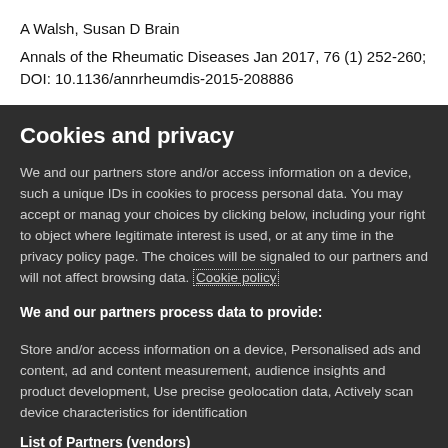A Walsh, Susan D Brain
Annals of the Rheumatic Diseases Jan 2017, 76 (1) 252-260; DOI: 10.1136/annrheumdis-2015-208886
Cookies and privacy
We and our partners store and/or access information on a device, such as unique IDs in cookies to process personal data. You may accept or manage your choices by clicking below, including your right to object where legitimate interest is used, or at any time in the privacy policy page. These choices will be signaled to our partners and will not affect browsing data. Cookie policy
We and our partners process data to provide:
Store and/or access information on a device, Personalised ads and content, ad and content measurement, audience insights and product development, Use precise geolocation data, Actively scan device characteristics for identification
List of Partners (vendors)
I Accept